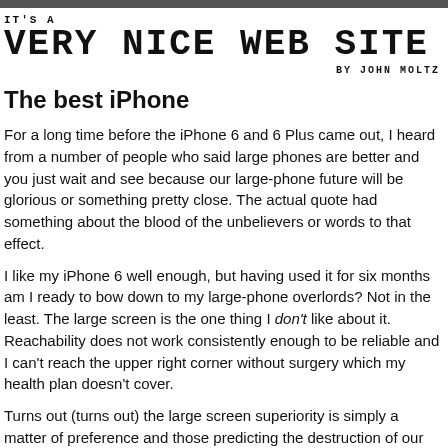IT'S A VERY NICE WEB SITE BY JOHN MOLTZ
The best iPhone
For a long time before the iPhone 6 and 6 Plus came out, I heard from a number of people who said large phones are better and you just wait and see because our large-phone future will be glorious or something pretty close. The actual quote had something about the blood of the unbelievers or words to that effect.
I like my iPhone 6 well enough, but having used it for six months am I ready to bow down to my large-phone overlords? Not in the least. The large screen is the one thing I don't like about it. Reachability does not work consistently enough to be reliable and I can't reach the upper right corner without surgery which my health plan doesn't cover.
Turns out (turns out) the large screen superiority is simply a matter of preference and those predicting the destruction of our reachable-corner way of life were wrong.
So, if Apple makes a 4-inch iPhone 6s in plastic, will I go with that? Each M...